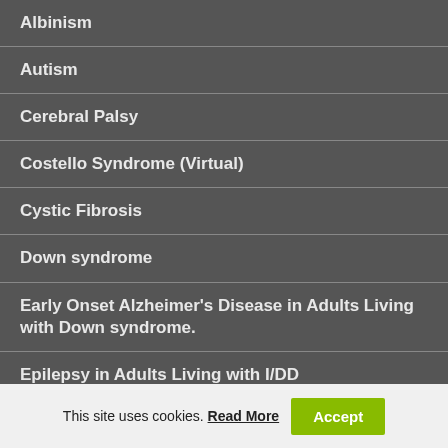Albinism
Autism
Cerebral Palsy
Costello Syndrome (Virtual)
Cystic Fibrosis
Down syndrome
Early Onset Alzheimer's Disease in Adults Living with Down syndrome.
Epilepsy in Adults Living with I/DD
Familial Dysautonomia
Fragile X
This site uses cookies. Read More Accept